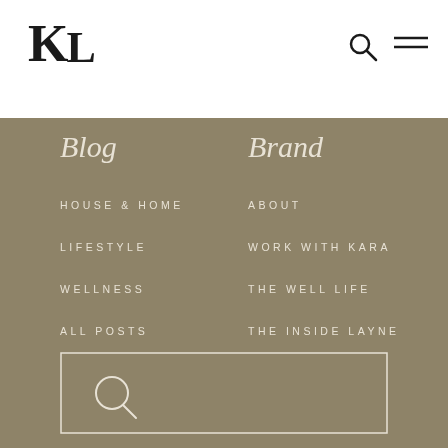KL
Blog
HOUSE & HOME
LIFESTYLE
WELLNESS
ALL POSTS
Brand
ABOUT
WORK WITH KARA
THE WELL LIFE
THE INSIDE LAYNE
[Figure (other): Search input box with magnifying glass icon on taupe/khaki background]